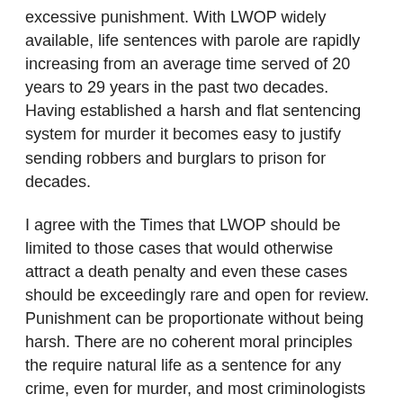excessive punishment. With LWOP widely available, life sentences with parole are rapidly increasing from an average time served of 20 years to 29 years in the past two decades. Having established a harsh and flat sentencing system for murder it becomes easy to justify sending robbers and burglars to prison for decades.
I agree with the Times that LWOP should be limited to those cases that would otherwise attract a death penalty and even these cases should be exceedingly rare and open for review. Punishment can be proportionate without being harsh. There are no coherent moral principles the require natural life as a sentence for any crime, even for murder, and most criminologists would agree that the risk of future dangerousness drops toward zero for most offenders after 40. Instead we should look to human dignity to set an appropriate cap for even the worst crimes at around 25 years with few sentences of longer than 10. Beyond these boundaries, continued imprisonment becomes degrading for both prisoners and prison officers. A sentencing structure built around those principles would leave plenty of room to mark the seriousness of different crimes, have little if any